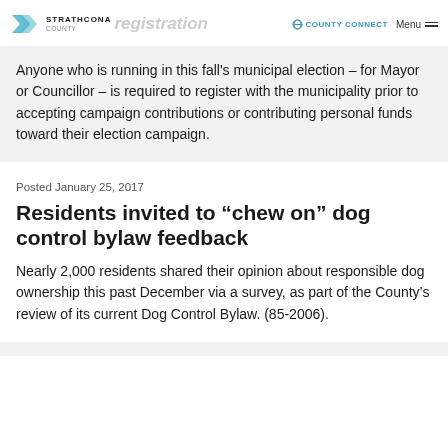Strathcona County — registration — COUNTY CONNECT — Menu
Anyone who is running in this fall's municipal election – for Mayor or Councillor – is required to register with the municipality prior to accepting campaign contributions or contributing personal funds toward their election campaign.
Posted January 25, 2017
Residents invited to “chew on” dog control bylaw feedback
Nearly 2,000 residents shared their opinion about responsible dog ownership this past December via a survey, as part of the County’s review of its current Dog Control Bylaw. (85-2006).